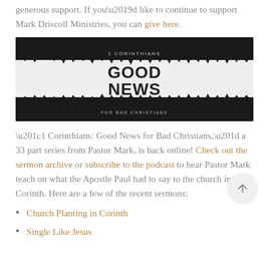generous support. If you’d like to continue to support Mark Driscoll Ministries, you can give here.
[Figure (illustration): Book/series banner image: black and white design with brushstroke texture. Text reads '1 CORINTHIANS' at top, 'GOOD NEWS' in large bold letters, 'FOR BAD CHRISTIANS' at bottom.]
“1 Corinthians: Good News for Bad Christians,” a 33 part series from Pastor Mark, is back online! Check out the sermon archive or subscribe to the podcast to hear Pastor Mark teach on what the Apostle Paul had to say to the church in Corinth. Here are a few of the recent sermons:
Church Planting in Corinth
Single Like Jesus